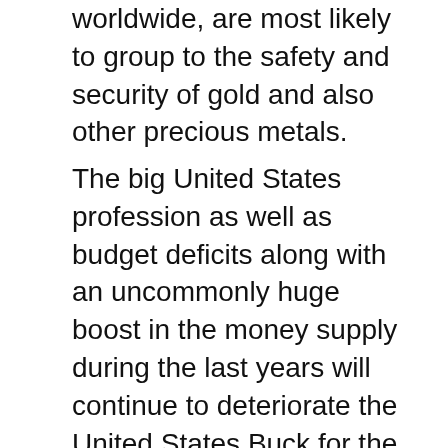worldwide, are most likely to group to the safety and security of gold and also other precious metals.
The big United States profession as well as budget deficits along with an uncommonly huge boost in the money supply during the last years will continue to deteriorate the United States Buck for the near future, which will certainly result in increasing need, as well as thus prices, for gold and silver. It is extremely most likely that the rate of gold will certainly never ever again be as reduced as it is today. Unlike paper currency and also various other commodities, gold has a history of holding its worth, as well as also increasing, during economic crises.